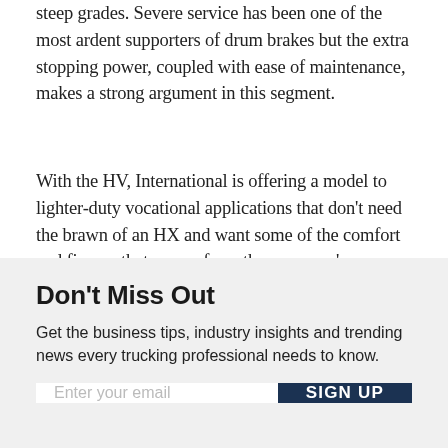steep grades. Severe service has been one of the most ardent supporters of drum brakes but the extra stopping power, coupled with ease of maintenance, makes a strong argument in this segment.
With the HV, International is offering a model to lighter-duty vocational applications that don’t need the brawn of an HX and want some of the comfort and finesse that comes from the company’s on-highway lineup.
Don’t Miss Out
Get the business tips, industry insights and trending news every trucking professional needs to know.